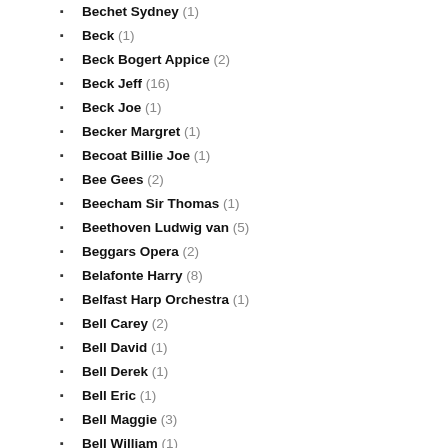Bechet Sydney (1)
Beck (1)
Beck Bogert Appice (2)
Beck Jeff (16)
Beck Joe (1)
Becker Margret (1)
Becoat Billie Joe (1)
Bee Gees (2)
Beecham Sir Thomas (1)
Beethoven Ludwig van (5)
Beggars Opera (2)
Belafonte Harry (8)
Belfast Harp Orchestra (1)
Bell Carey (2)
Bell David (1)
Bell Derek (1)
Bell Eric (1)
Bell Maggie (3)
Bell William (1)
Bellini Vincenzo (1)
Bellson Louie (2)